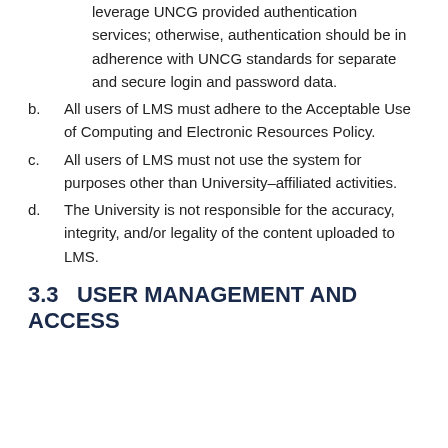leverage UNCG provided authentication services; otherwise, authentication should be in adherence with UNCG standards for separate and secure login and password data.
b. All users of LMS must adhere to the Acceptable Use of Computing and Electronic Resources Policy.
c. All users of LMS must not use the system for purposes other than University-affiliated activities.
d. The University is not responsible for the accuracy, integrity, and/or legality of the content uploaded to LMS.
3.3   USER MANAGEMENT AND ACCESS